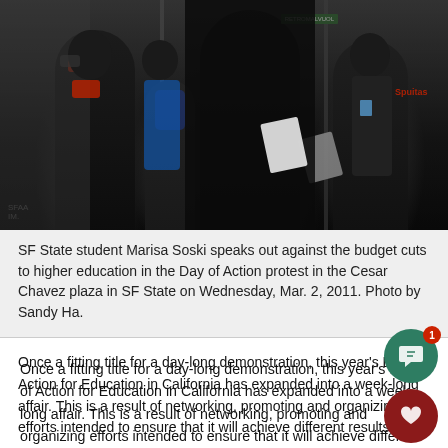[Figure (photo): Protest scene showing SF State students at the Day of Action demonstration. Several people dressed in black are visible, some holding signs on sticks. A person appears to be speaking. A blue scarf is visible on one participant. A green sign is visible in the upper right area.]
SF State student Marisa Soski speaks out against the budget cuts to higher education in the Day of Action protest in the Cesar Chavez plaza in SF State on Wednesday, Mar. 2, 2011. Photo by Sandy Ha.
Once a fitting title for a day-long demonstration, this year's Day of Action for Education in California has expanded into a week-long affair. This is a result of networking, promoting and organizing efforts intended to ensure that it will achieve different results.
The rally will start at 11 a.m. March 1 in Malcom X Plaza and stop at the Civic Center, the California State Building and then City Hall, ending around 6 p.m. This is only the beginning.